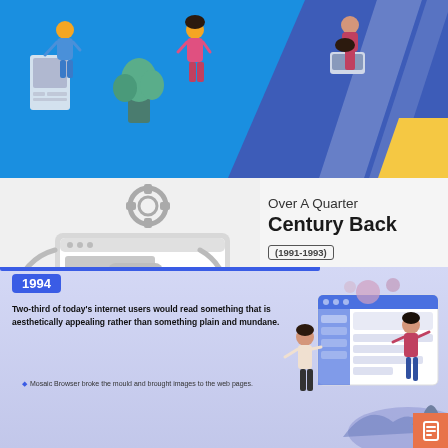[Figure (illustration): Top banner with blue background showing people using technology devices, with diagonal blue stripe and yellow accent on the right side]
[Figure (illustration): Middle white section with grayscale illustration of a person at a large monitor/screen with UI elements, and a gear/settings icon above]
Over A Quarter Century Back
(1991-1993)
The World Wide Web was born and text-only web pages were used to fill the simple line mode browser.
[Figure (illustration): Bottom blue-purple section for 1994 with illustration of people interacting with a large web browser/screen showing website UI elements]
1994
Two-third of today's internet users would read something that is aesthetically appealing rather than something plain and mundane.
Mosaic Browser broke the mould and brought images to the web pages.